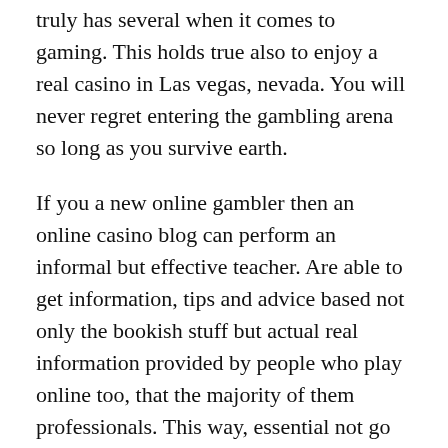truly has several when it comes to gaming. This holds true also to enjoy a real casino in Las vegas, nevada. You will never regret entering the gambling arena so long as you survive earth.
If you a new online gambler then an online casino blog can perform an informal but effective teacher. Are able to get information, tips and advice based not only the bookish stuff but actual real information provided by people who play online too, that the majority of them professionals. This way, essential not go around playing and risking money blindly. While a certain piece associated with is no guarantee of wins, it might always raise your chances understand games, moves and tactics. Many top professional pussy888 login gamblers like to boast of these skill and methods which is why they publish these hints for free. It boosts their ego may can take advantage of this by picking up tips to your